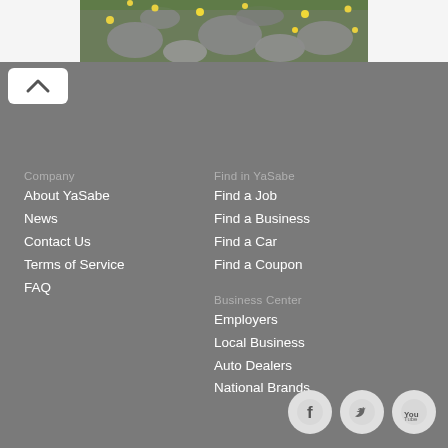[Figure (photo): Stone path with yellow flowers and green grass]
[Figure (other): Back/up navigation button with caret symbol]
Company
About YaSabe
News
Contact Us
Terms of Service
FAQ
Find in YaSabe
Find a Job
Find a Business
Find a Car
Find a Coupon
Business Center
Employers
Local Business
Auto Dealers
National Brands
[Figure (other): Social media icons: Facebook, Twitter, YouTube]